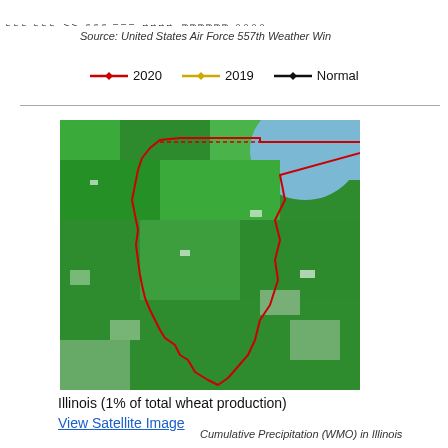[Figure (other): Rotated month/date axis labels at the top of the page (Mar, Apr, May, Jun, Jul, Aug, Sep) from a precipitation chart]
Source: United States Air Force 557th Weather Win
[Figure (other): Legend showing three lines: 2020 (red), 2019 (gold/yellow), Normal (black)]
[Figure (map): Satellite/vegetation map image of Illinois showing state boundary outlined in red, with green vegetation and a blue lake region to the northeast]
Illinois (1% of total wheat production)
View Satellite Image
Cumulative Precipitation (WMO) in Illinois